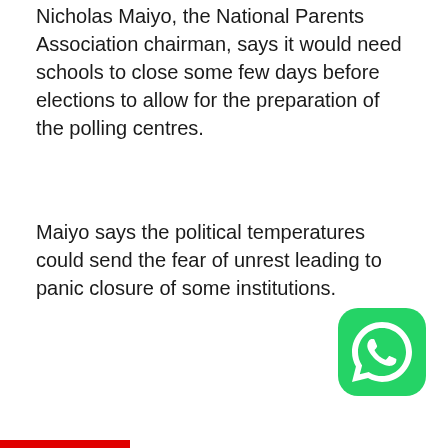Nicholas Maiyo, the National Parents Association chairman, says it would need schools to close some few days before elections to allow for the preparation of the polling centres.
Maiyo says the political temperatures could send the fear of unrest leading to panic closure of some institutions.
[Figure (logo): WhatsApp green circular logo icon]